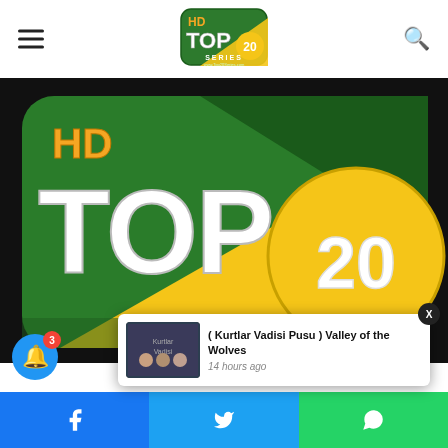HD Top20 Series — www.Top20Series.com
[Figure (logo): HD Top20 Series logo — green rounded square background with yellow diagonal stripe, white 'TOP' lettering and gold '20' circle, 'HD' in orange top-left, 'SERIES' text below]
[Figure (screenshot): Notification card showing thumbnail image for 'Kurtlar Vadisi Pusu / Valley of the Wolves' posted 14 hours ago, with X close button]
( Kurtlar Vadisi Pusu ) Valley of the Wolves
14 hours ago